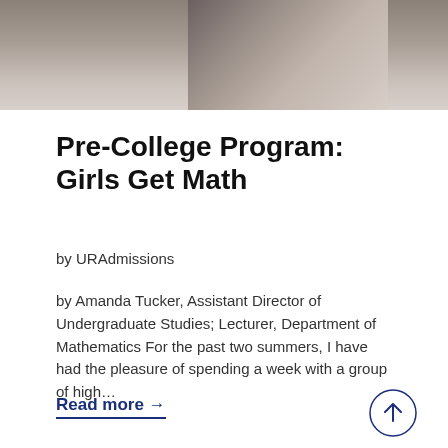[Figure (photo): Partial photo of a person, cropped at top of page, grayscale/muted tones]
Pre-College Program: Girls Get Math
by URAdmissions
by Amanda Tucker, Assistant Director of Undergraduate Studies; Lecturer, Department of Mathematics For the past two summers, I have had the pleasure of spending a week with a group of high…
Read more →